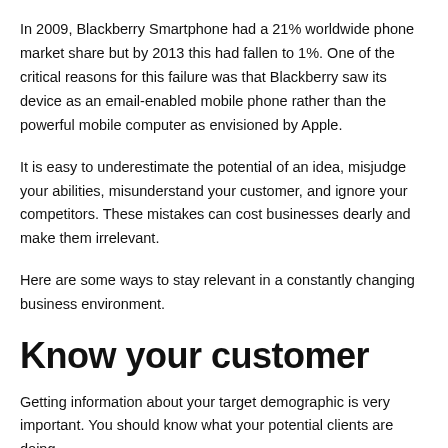In 2009, Blackberry Smartphone had a 21% worldwide phone market share but by 2013 this had fallen to 1%. One of the critical reasons for this failure was that Blackberry saw its device as an email-enabled mobile phone rather than the powerful mobile computer as envisioned by Apple.
It is easy to underestimate the potential of an idea, misjudge your abilities, misunderstand your customer, and ignore your competitors. These mistakes can cost businesses dearly and make them irrelevant.
Here are some ways to stay relevant in a constantly changing business environment.
Know your customer
Getting information about your target demographic is very important. You should know what your potential clients are doing.